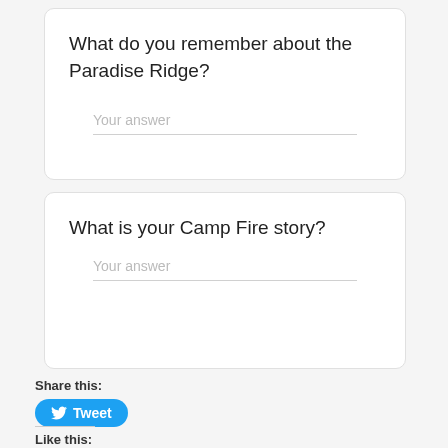What do you remember about the Paradise Ridge?
Your answer
What is your Camp Fire story?
Your answer
Share this:
Tweet
Like this:
Like
One blogger likes this.